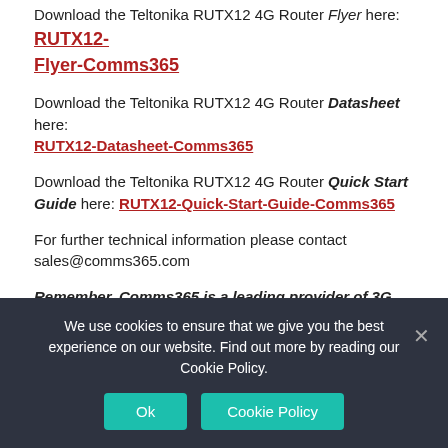Download the Teltonika RUTX12 4G Router Flyer here: RUTX12-Flyer-Comms365
Download the Teltonika RUTX12 4G Router Datasheet here: RUTX12-Datasheet-Comms365
Download the Teltonika RUTX12 4G Router Quick Start Guide here: RUTX12-Quick-Start-Guide-Comms365
For further technical information please contact sales@comms365.com
Remember, Comms365 is a leading provider of 3G and 4G connectivity solutions. We deliver the service from our own network that is interconnected with all the UK mobile operators. We have a range of tariffs and bespoke solutions that are tried,
We use cookies to ensure that we give you the best experience on our website. Find out more by reading our Cookie Policy.